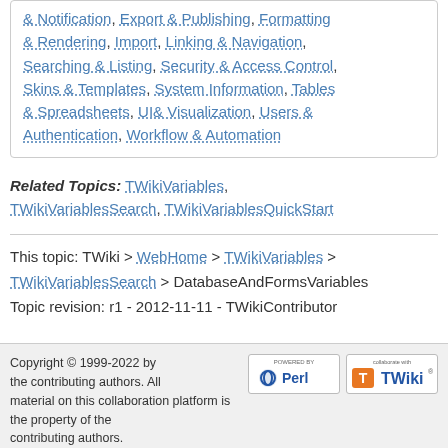& Notification, Export & Publishing, Formatting & Rendering, Import, Linking & Navigation, Searching & Listing, Security & Access Control, Skins & Templates, System Information, Tables & Spreadsheets, UI& Visualization, Users & Authentication, Workflow & Automation
Related Topics: TWikiVariables, TWikiVariablesSearch, TWikiVariablesQuickStart
This topic: TWiki > WebHome > TWikiVariables > TWikiVariablesSearch > DatabaseAndFormsVariables
Topic revision: r1 - 2012-11-11 - TWikiContributor
Copyright © 1999-2022 by the contributing authors. All material on this collaboration platform is the property of the contributing authors.
[Figure (logo): Powered by Perl logo badge]
[Figure (logo): Collaborate with TWiki logo badge]